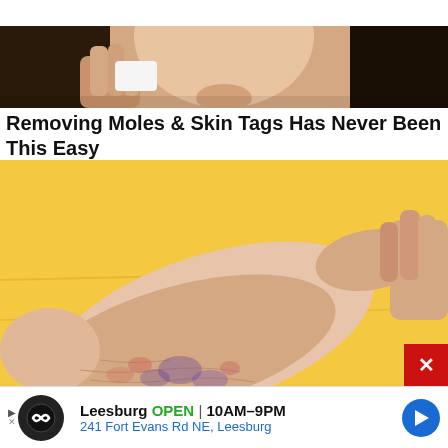<< HOMEPAGE | Subscribe
[Figure (photo): Close-up photo of a woman touching her face/chin area with her hand, dark hair visible, skin care context]
Removing Moles & Skin Tags Has Never Been This Easy
[Figure (photo): Close-up photo of a human foot/ankle on a yellow background, showing skin texture and some skin blemishes/discoloration]
Leesburg OPEN 10AM-9PM | 241 Fort Evans Rd NE, Leesburg